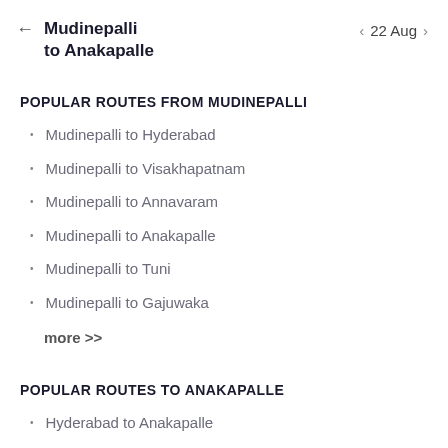Mudinepalli to Anakapalle  22 Aug
POPULAR ROUTES FROM MUDINEPALLI
Mudinepalli to Hyderabad
Mudinepalli to Visakhapatnam
Mudinepalli to Annavaram
Mudinepalli to Anakapalle
Mudinepalli to Tuni
Mudinepalli to Gajuwaka
more >>
POPULAR ROUTES TO ANAKAPALLE
Hyderabad to Anakapalle